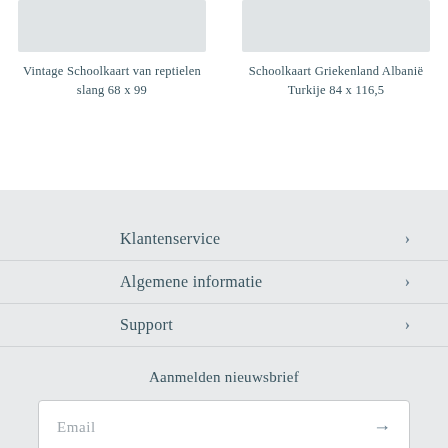[Figure (photo): Placeholder image for Vintage Schoolkaart van reptielen slang product]
Vintage Schoolkaart van reptielen slang 68 x 99
[Figure (photo): Placeholder image for Schoolkaart Griekenland Albanië Turkije product]
Schoolkaart Griekenland Albanië Turkije 84 x 116,5
Klantenservice
Algemene informatie
Support
Aanmelden nieuwsbrief
Email